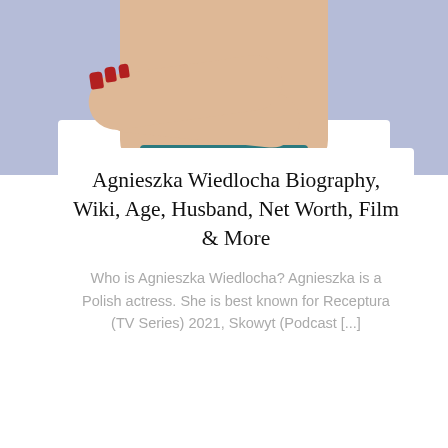[Figure (photo): Photo of Agnieszka Wiedlocha with arms crossed against a lavender/blue background, wearing a teal dress, with red nail polish]
Agnieszka Wiedlocha Biography, Wiki, Age, Husband, Net Worth, Film & More
Who is Agnieszka Wiedlocha? Agnieszka is a Polish actress. She is best known for Receptura (TV Series) 2021, Skowyt (Podcast [...])